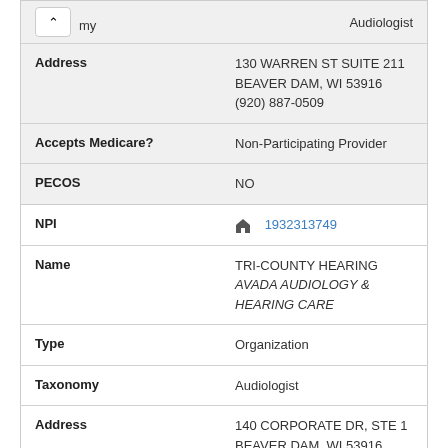| Field | Value |
| --- | --- |
| Taxonomy | Audiologist |
| Address | 130 WARREN ST SUITE 211
BEAVER DAM, WI 53916
(920) 887-0509 |
| Accepts Medicare? | Non-Participating Provider |
| PECOS | NO |
| NPI | 1932313749 |
| Name | TRI-COUNTY HEARING
AVADA AUDIOLOGY & HEARING CARE |
| Type | Organization |
| Taxonomy | Audiologist |
| Address | 140 CORPORATE DR, STE 1
BEAVER DAM, WI 53916
(920) 887-2822 |
| Accepts Medicare? | Non-Participating Provider |
| PECOS | NO |